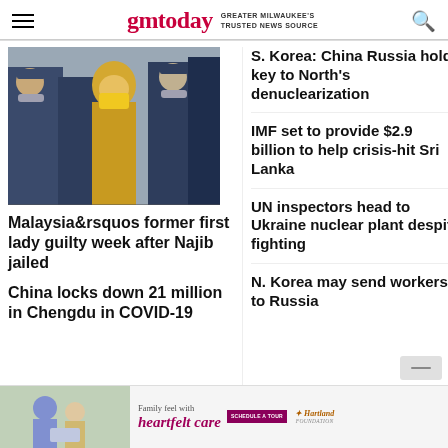gmtoday GREATER MILWAUKEE'S TRUSTED NEWS SOURCE
[Figure (photo): Woman in yellow hijab and face mask escorted by police officers in uniform also wearing masks]
Malaysia&rsquos former first lady guilty week after Najib jailed
China locks down 21 million in Chengdu in COVID-19
S. Korea: China Russia hold key to North's denuclearization
IMF set to provide $2.9 billion to help crisis-hit Sri Lanka
UN inspectors head to Ukraine nuclear plant despite fighting
N. Korea may send workers to Russia
[Figure (photo): Advertisement banner: Family feel with heartfelt care - Hartland Foundation]